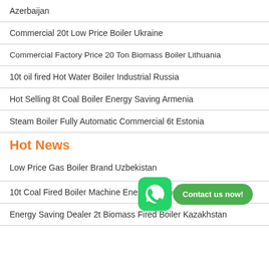Azerbaijan
Commercial 20t Low Price Boiler Ukraine
Commercial Factory Price 20 Ton Biomass Boiler Lithuania
10t oil fired Hot Water Boiler Industrial Russia
Hot Selling 8t Coal Boiler Energy Saving Armenia
Steam Boiler Fully Automatic Commercial 6t Estonia
Hot News
Low Price Gas Boiler Brand Uzbekistan
10t Coal Fired Boiler Machine Energy Saving Azerbaijan
Energy Saving Dealer 2t Biomass Fired Boiler Kazakhstan
[Figure (infographic): WhatsApp icon with green rounded square background and phone handset logo, alongside a green pill-shaped button reading 'Contact us now!']